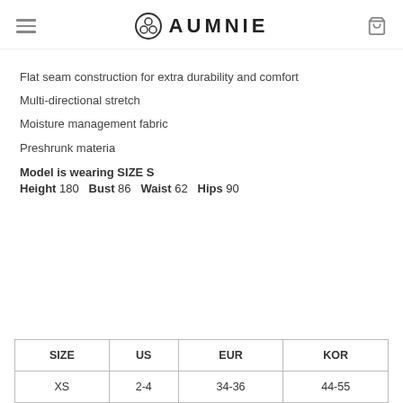AUMNIE
Flat seam construction for extra durability and comfort
Multi-directional stretch
Moisture management fabric
Preshrunk materia
Model is wearing SIZE S
Height 180   Bust 86   Waist 62   Hips 90
| SIZE | US | EUR | KOR |
| --- | --- | --- | --- |
| XS | 2-4 | 34-36 | 44-55 |